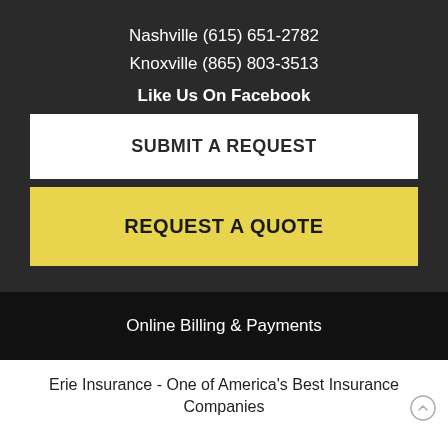Nashville (615) 651-2782
Knoxville (865) 803-3513
Like Us On Facebook
SUBMIT A REQUEST
REQUEST A QUOTE
Online Billing & Payments
Erie Insurance - One of America's Best Insurance Companies